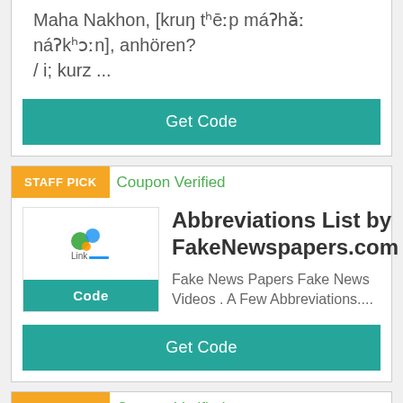Maha Nakhon, [kruŋ tʰēːp máʔhǎː náʔkʰɔːn], anhören? / i; kurz ...
Get Code
STAFF PICK
Coupon Verified
Abbreviations List by FakeNewspapers.com
Fake News Papers Fake News Videos . A Few Abbreviations....
Code
Get Code
STAFF PICK
Coupon Verified